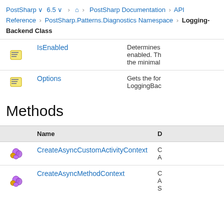PostSharp > 6.5 > Home > PostSharp Documentation > API Reference > PostSharp.Patterns.Diagnostics Namespace > Logging-Backend Class
|  | Name | Description |
| --- | --- | --- |
| [icon] | IsEnabled | Determines enabled. The the minimal |
| [icon] | Options | Gets the for LoggingBac |
Methods
|  | Name | D |
| --- | --- | --- |
| [icon] | CreateAsyncCustomActivityContext | C A |
| [icon] | CreateAsyncMethodContext | C A S |